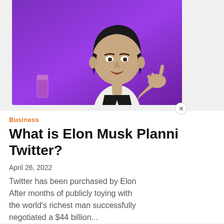[Figure (photo): Photo of Elon Musk gesturing with one hand against a purple background, wearing a dark suit jacket and white shirt. A glass is visible on a table to his left.]
Business
What is Elon Musk Planni Twitter?
April 26, 2022
Twitter has been purchased by Elon After months of publicly toying with the world's richest man successfully negotiated a $44 billion...